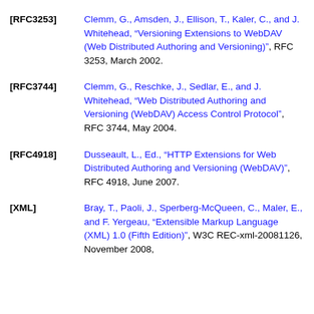[RFC3253] Clemm, G., Amsden, J., Ellison, T., Kaler, C., and J. Whitehead, "Versioning Extensions to WebDAV (Web Distributed Authoring and Versioning)", RFC 3253, March 2002.
[RFC3744] Clemm, G., Reschke, J., Sedlar, E., and J. Whitehead, "Web Distributed Authoring and Versioning (WebDAV) Access Control Protocol", RFC 3744, May 2004.
[RFC4918] Dusseault, L., Ed., "HTTP Extensions for Web Distributed Authoring and Versioning (WebDAV)", RFC 4918, June 2007.
[XML] Bray, T., Paoli, J., Sperberg-McQueen, C., Maler, E., and F. Yergeau, "Extensible Markup Language (XML) 1.0 (Fifth Edition)", W3C REC-xml-20081126, November 2008,